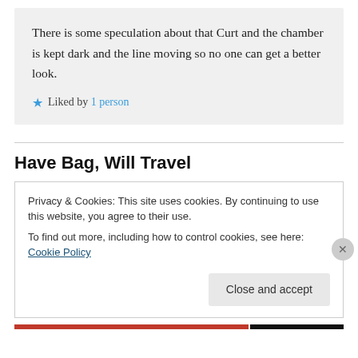There is some speculation about that Curt and the chamber is kept dark and the line moving so no one can get a better look.
★ Liked by 1 person
Have Bag, Will Travel
Privacy & Cookies: This site uses cookies. By continuing to use this website, you agree to their use.
To find out more, including how to control cookies, see here: Cookie Policy
Close and accept